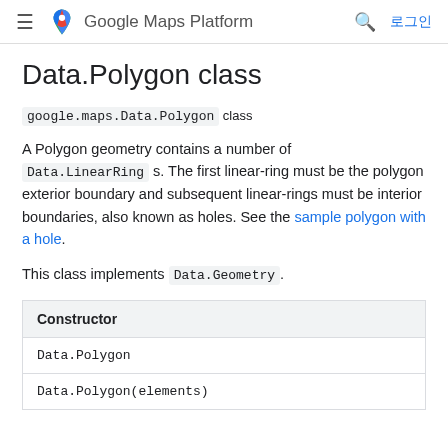≡  Google Maps Platform  🔍  로그인
Data.Polygon class
google.maps.Data.Polygon class
A Polygon geometry contains a number of Data.LinearRing s. The first linear-ring must be the polygon exterior boundary and subsequent linear-rings must be interior boundaries, also known as holes. See the sample polygon with a hole.
This class implements Data.Geometry .
| Constructor |
| --- |
| Data.Polygon |
| Data.Polygon(elements) |